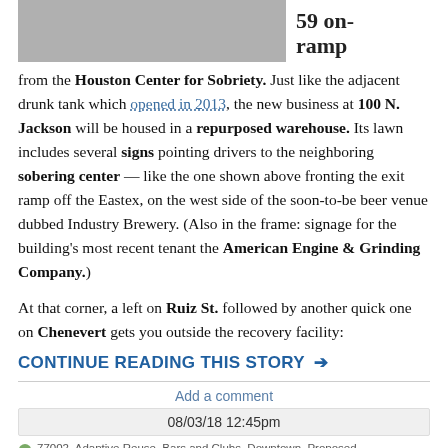[Figure (photo): Partial photo of a road or ramp surface, grayscale]
59 on-ramp
from the Houston Center for Sobriety. Just like the adjacent drunk tank which opened in 2013, the new business at 100 N. Jackson will be housed in a repurposed warehouse. Its lawn includes several signs pointing drivers to the neighboring sobering center — like the one shown above fronting the exit ramp off the Eastex, on the west side of the soon-to-be beer venue dubbed Industry Brewery. (Also in the frame: signage for the building's most recent tenant the American Engine & Grinding Company.)
At that corner, a left on Ruiz St. followed by another quick one on Chenevert gets you outside the recovery facility:
CONTINUE READING THIS STORY →
Add a comment
08/03/18 12:45pm
77002, Adaptive Reuse, Bars and Clubs, Downtown, Proposed Developments,